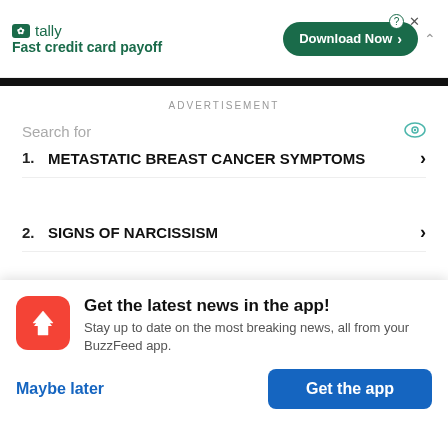[Figure (infographic): Tally app advertisement banner with logo, 'Fast credit card payoff' tagline, and 'Download Now' button]
ADVERTISEMENT
Search for
1. METASTATIC BREAST CANCER SYMPTOMS
2. SIGNS OF NARCISSISM
3. BEST DERMATOLOGISTS NEAR ME
4. BEST LIP BALM FOR DRY LIPS
Get the latest news in the app! Stay up to date on the most breaking news, all from your BuzzFeed app.
Maybe later
Get the app